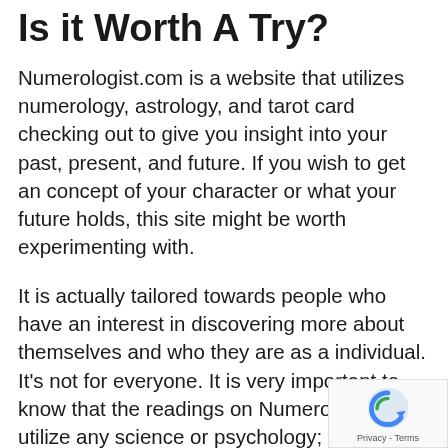Is it Worth A Try?
Numerologist.com is a website that utilizes numerology, astrology, and tarot card checking out to give you insight into your past, present, and future. If you wish to get an concept of your character or what your future holds, this site might be worth experimenting with.
It is actually tailored towards people who have an interest in discovering more about themselves and who they are as a individual. It's not for everyone. It is very important to know that the readings on Numerologist don't utilize any science or psychology; they're based completely on the significances of numbers and how they